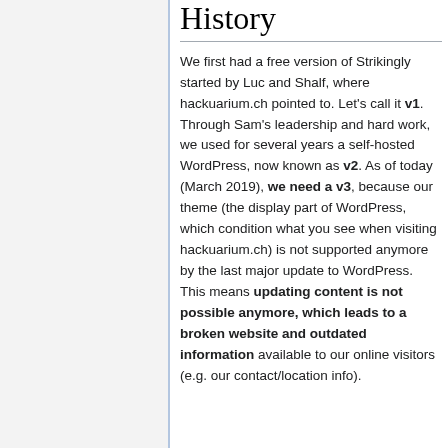History
We first had a free version of Strikingly started by Luc and Shalf, where hackuarium.ch pointed to. Let's call it v1. Through Sam's leadership and hard work, we used for several years a self-hosted WordPress, now known as v2. As of today (March 2019), we need a v3, because our theme (the display part of WordPress, which condition what you see when visiting hackuarium.ch) is not supported anymore by the last major update to WordPress. This means updating content is not possible anymore, which leads to a broken website and outdated information available to our online visitors (e.g. our contact/location info).